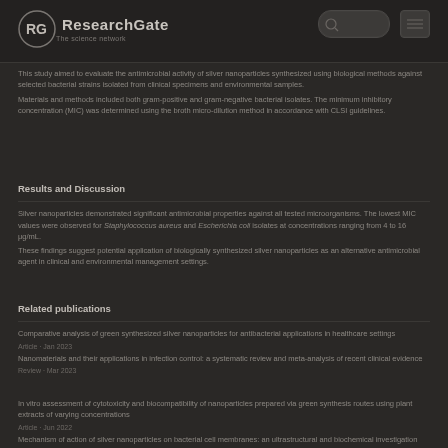ResearchGate
This study aimed to evaluate the antimicrobial activity of silver nanoparticles synthesized using biological methods against selected bacterial strains isolated from clinical specimens and environmental samples.
Materials and methods included both gram-positive and gram-negative bacterial isolates. The minimum inhibitory concentration (MIC) was determined using the broth micro-dilution method in accordance with CLSI guidelines.
Results and Discussion
Silver nanoparticles demonstrated significant antimicrobial properties against all tested microorganisms. The lowest MIC values were observed for Staphylococcus aureus and Escherichia coli isolates at concentrations ranging from 4 to 16 μg/mL.
These findings suggest potential application of biologically synthesized silver nanoparticles as an alternative antimicrobial agent in clinical and environmental management settings.
Related publications
Comparative analysis of green synthesized silver nanoparticles for antibacterial applications in healthcare settings
Nanomaterials and their applications in infection control: a systematic review and meta-analysis of recent clinical evidence
ResearchGate · Science · Connect · Share · Discover